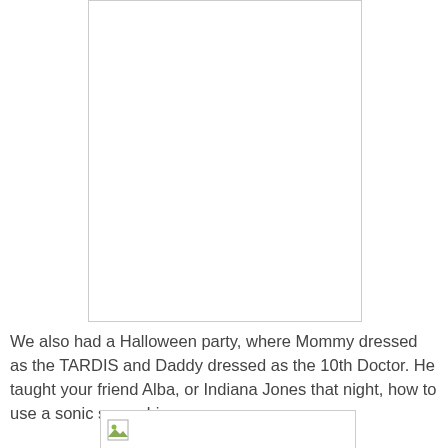[Figure (photo): A mostly white/blank image placeholder or photo with a light gray border, shown at the top of the page.]
We also had a Halloween party, where Mommy dressed as the TARDIS and Daddy dressed as the 10th Doctor. He taught your friend Alba, or Indiana Jones that night, how to use a sonic screwdriver.
[Figure (photo): A small image placeholder with an icon visible at the bottom of the page.]